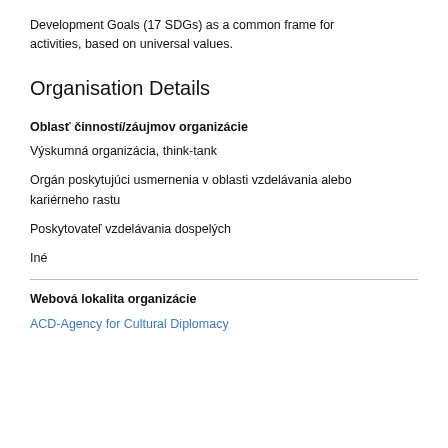Development Goals (17 SDGs) as a common frame for activities, based on universal values.
Organisation Details
Oblasť činností/záujmov organizácie
Výskumná organizácia, think-tank
Orgán poskytujúci usmernenia v oblasti vzdelávania alebo kariérneho rastu
Poskytovateľ vzdelávania dospelých
Iné
Webová lokalita organizácie
ACD-Agency for Cultural Diplomacy